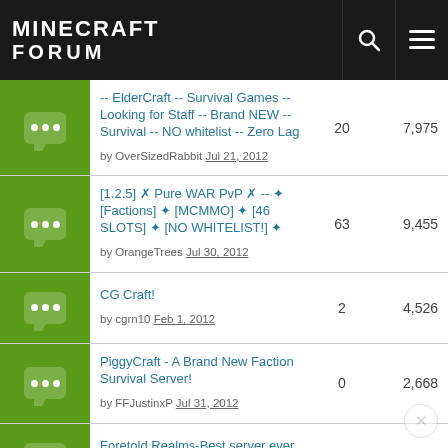MINECRAFT FORUM
-- ElderCraft -- Survival Games -- Looking for Staff -- Brand NEW -- Survival -- NO whitelist -- Zero Lag by OverSizedRabbit Jul 21, 2012 | replies: 20 | views: 7,975
[1.2.5] ✗ Pure WAR PvP ✗ -- ✦ [Factions] ✦ [MCMMO] ✦ [46 SLOTS] ✦ [NO WHITELIST!] ✦ by OrangeTrees Jul 30, 2012 | replies: 63 | views: 9,455
CG Craft! by cgrn10 Feb 1, 2012 | replies: 2 | views: 4,526
PiggyCraft - A Brand New Faction Survival Server! by FFJustinxP Jul 31, 2012 | replies: 0 | views: 2,668
Foretold Realms-Best server ever by Xx_igort2323_xX Jul 24, 2012 | replies: 4 | views: 3,043
[PvE] iDig Friendly Survival Server by DrowndJellyFish Jul 31, 2012 | replies: 3 | views: 5,432
Sector9.us [24/7] [Factions] [mcMMO] [LogBlock] [SkyBlock] [MobArena] [Ranks] [PvP] [No...